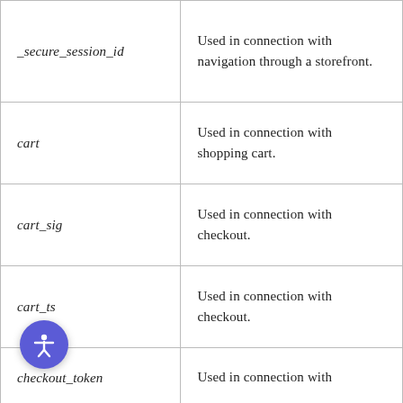| Cookie | Description |
| --- | --- |
| _secure_session_id | Used in connection with navigation through a storefront. |
| cart | Used in connection with shopping cart. |
| cart_sig | Used in connection with checkout. |
| cart_ts | Used in connection with checkout. |
| checkout_token | Used in connection with |